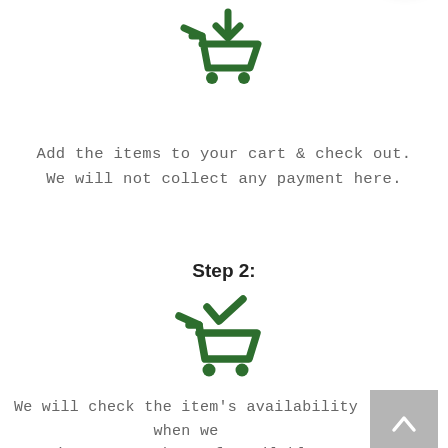[Figure (illustration): Green shopping cart icon with a downward arrow, indicating adding items to cart]
Add the items to your cart & check out.
We will not collect any payment here.
Step 2:
[Figure (illustration): Green shopping cart icon with a checkmark, indicating order confirmation]
We will check the item's availability when we receive your order. If available, we will email you an order confirmation with payment details.
Orders received after 5pm will be proce... the next working day.